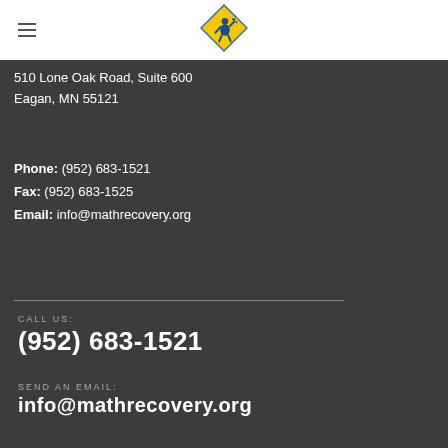[Figure (logo): Math Recovery diamond-shaped logo with blue figure and yellow background]
510 Lone Oak Road, Suite 600
Eagan, MN 55121
Phone: (952) 683-1521
Fax: (952) 683-1525
Email: info@mathrecovery.org
CALL US:
(952) 683-1521
SEND AN EMAIL:
info@mathrecovery.org